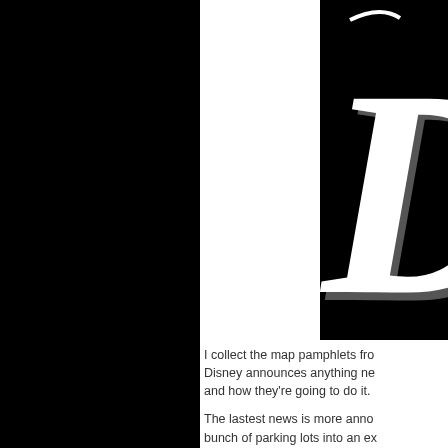[Figure (logo): Large decorative blackletter/gothic capital letter D in white on black background, partially visible (right half cropped)]
I collect the map pamphlets fro Disney announces anything ne and how they're going to do it.
The lastest news is more anno bunch of parking lots into an ex